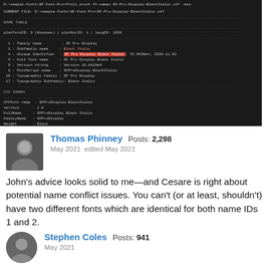[Figure (screenshot): Terminal window showing ftcli print ft-names command output for SF-Pro-Display-BlackItalic.otf, displaying NAME TABLE and CFF NAMES sections with font metadata]
Thomas Phinney Posts: 2,298
May 2021  edited May 2021
John's advice looks solid to me—and Cesare is right about potential name conflict issues. You can't (or at least, shouldn't) have two different fonts which are identical for both name IDs 1 and 2.
Stephen Coles Posts: 941
May 2021